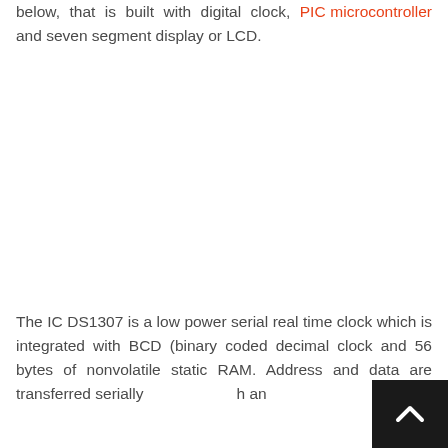below, that is built with digital clock, PIC microcontroller and seven segment display or LCD.
The IC DS1307 is a low power serial real time clock which is integrated with BCD (binary coded decimal clock and 56 bytes of nonvolatile static RAM. Address and data are transferred serially through an